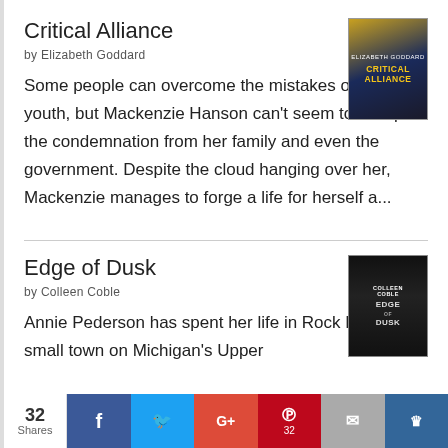Critical Alliance
by Elizabeth Goddard
[Figure (illustration): Book cover for Critical Alliance — dark blue and gold tones with text CRITICAL ALLIANCE]
Some people can overcome the mistakes of their youth, but Mackenzie Hanson can't seem to escape the condemnation from her family and even the government. Despite the cloud hanging over her, Mackenzie manages to forge a life for herself a...
Edge of Dusk
by Colleen Coble
[Figure (illustration): Book cover for Edge of Dusk by Colleen Coble — dark with author name and title in large letters]
Annie Pederson has spent her life in Rock Harbor, a small town on Michigan's Upper
32 Shares  Facebook  Twitter  G+  Pinterest 32  Email  Crown